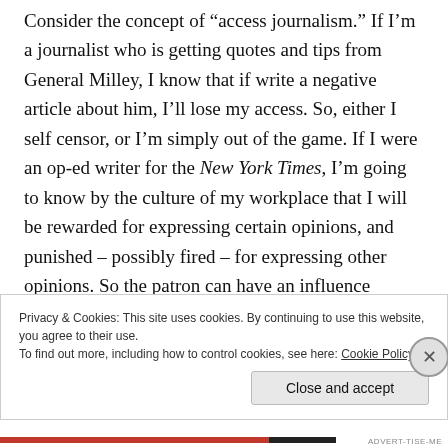Consider the concept of “access journalism.” If I’m a journalist who is getting quotes and tips from General Milley, I know that if write a negative article about him, I’ll lose my access. So, either I self censor, or I’m simply out of the game. If I were an op-ed writer for the New York Times, I’m going to know by the culture of my workplace that I will be rewarded for expressing certain opinions, and punished – possibly fired – for expressing other opinions. So the patron can have an influence merely by selection.
No... Chomsky’s position about the mainstream media...
Privacy & Cookies: This site uses cookies. By continuing to use this website, you agree to their use.
To find out more, including how to control cookies, see here: Cookie Policy
Close and accept